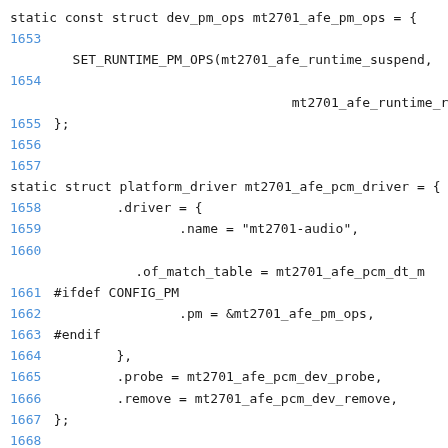static const struct dev_pm_ops mt2701_afe_pm_ops = {
1653
        SET_RUNTIME_PM_OPS(mt2701_afe_runtime_suspend,
1654
                                    mt2701_afe_runtime_resume, NU
1655 };
1656
1657
static struct platform_driver mt2701_afe_pcm_driver = {
1658         .driver = {
1659                 .name = "mt2701-audio",
1660
                .of_match_table = mt2701_afe_pcm_dt_m
1661 #ifdef CONFIG_PM
1662                 .pm = &mt2701_afe_pm_ops,
1663 #endif
1664         },
1665         .probe = mt2701_afe_pcm_dev_probe,
1666         .remove = mt2701_afe_pcm_dev_remove,
1667 };
1668
1669 module_platform_driver(mt2701_afe_pcm_driver);
1670
1671
MODULE_DESCRIPTION("Mediatek ALSA SoC AFE platform driv